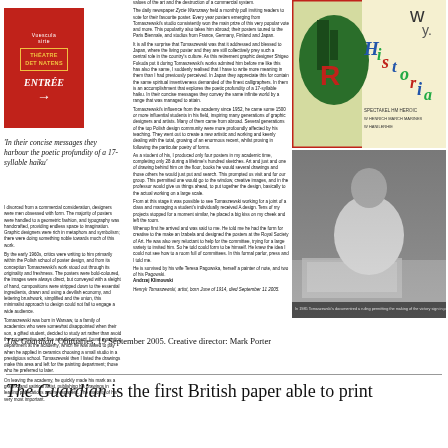[Figure (photo): Colorful illustrated poster with 'Historia' text in stylized lettering on green and cream background, top-right of newspaper page spread]
[Figure (photo): Black and white photograph of a man in a white sweater working at a desk drawing or designing]
[Figure (illustration): Red box with yellow-bordered theatre sign reading 'THEATRE DET NATENS' and white 'ENTREE' text with arrow, part of newspaper layout]
'In their concise messages they harbour the poetic profundity of a 17-syllable haiku'
I divorced from a commercial consideration, designers were men obsessed with form. The majority of posters were handled to a geometric fashion, and typography was handcrafted, providing endless space to imagination. Graphic designers were rich in metaphors and symbolism; there were doing something noble towards much of this work.

By the early 1960s, critics were referring to him primarily within the Polish school of poster design, and from its conception Tomaszewski's work stood out through its originality and freshness. The posters were bold-saturating colour on white, the images were always direct, had conveyed with a sleight of hand, compositions were stripped down to the essential ingredients, drawn and using a devilish economy, and lettering brushwork, simplified and the union, this minimalist approach to design could not fail to engage a wide audience.
Tomaszewski was born in Warsaw, to a family of academics who were somewhat disappointed when their son, a gifted student, decided to study art rather than avoid the conservative and fine arts department, found a painting department at the academy, which he was asked to pay when he applied in ceramics choosing a small studio in a prestigious school. Tomaszewski then I listed the drawings make this area and left for the painting department; those who he preferred to later.

On leaving the academy, he quickly made his mark as a graphic and satirical artist, publishing his drawings in leading publications and newspapers. The majority of his very most important.
values of the art and the destruction of a commercial system.

The daily newspaper Zycie Warszawy held a monthly poll inviting readers to vote for their favourite poster. Every year posters emerging from Tomaszewski's studio consistently won the main prize of this very popular vote and more. This popularity also takes him abroad; their posters toured to the Paris Biennale, and studios from France, Germany, Finland and Japan.

It is all the surprise that Tomaszewski was that it addressed and blessed to Japan, where the living poster and they are still collectively prey such a central role in the country's culture. As this retirement graphic designer Shigeo Fukuda put it during Tomaszewski's works admired him before me like this has also the same, I suddenly realised that I have to write more meaning in them than I had previously perceived. In Japan they appreciate this for contain the same spiritual inventiveness demanded of the finest calligraphers. In them is an accomplishment that explores the poetic personality of a 17-syllable haiku. In their concise own inheritors they convey the same infinite world by a range that was managed to attain.

Tomaszewski's influence from the academy since 1952, he came some 1500 or more influential students in his field, inspiring many generations of graphic designers and artists. Many of them came from abroad. Several generations of the top Polish design community were more profoundly affected by his teaching. They went out to create a new artistic and working and keenly dealing with the total, growing of an enormous recent, whilst proving in following the particular poetry of forms.

As a student of his, I produced only four posters in my academic time, completing only 28 during a lifetime's hundred sketches. Art and just one of drawing behind him on the floor, books he would literally let off from, others he would just put and search. This prompted us visit and for our group. This permitted one would go to the window, creative images, and in the professor would give us things ahead, to put together the design, basically to the actual working on a large scale.

From at this stage it was possible to see Tomaszewski working for a joint of a class and managing a student's individually received a design. Tens of my projects stopped for a moment similar, he placed a big kiss on my cheek and left the room.

Whenup first he arrived and was said to me. He told me he had the form for creative to the make an Izabela and designed the posters at the Royal Society of Art. He was also very reluctant to help for the committee, trying for a large variety to invited him. So he told could form to be himself. He knew the idea I could not see how to a room full of committees. In this formal parlor, press and I told me.

He is survived by his wife Teresa Pagowska, herself a painter of note, and two of his Pagowski.
Andrzej Klimowski
Henryk Tomaszewski, artist, born June of 1914, died September 11 2005.
In 1985 Tomaszewski's documentred a ruling permitting the making of the victory sign in public by using other
The Guardian, Obituaries, 19 September 2005. Creative director: Mark Porter
The Guardian is the first British paper able to print